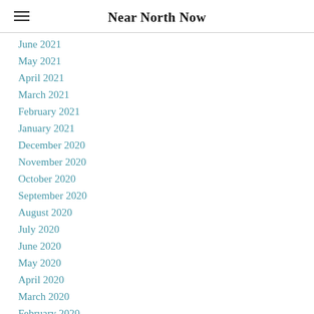Near North Now
June 2021
May 2021
April 2021
March 2021
February 2021
January 2021
December 2020
November 2020
October 2020
September 2020
August 2020
July 2020
June 2020
May 2020
April 2020
March 2020
February 2020